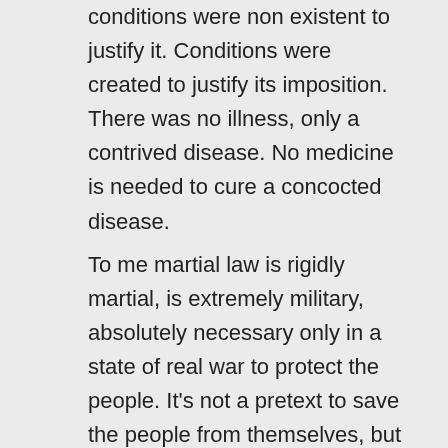conditions were non existent to justify it. Conditions were created to justify its imposition. There was no illness, only a contrived disease. No medicine is needed to cure a concocted disease.
To me martial law is rigidly martial, is extremely military, absolutely necessary only in a state of real war to protect the people. It's not a pretext to save the people from themselves, but from others whose designs are to